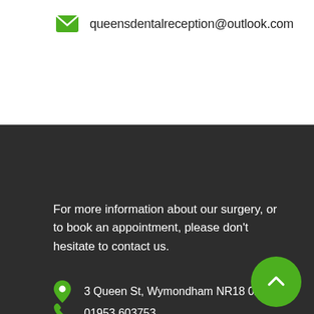queensdentalreception@outlook.com
For more information about our surgery, or to book an appointment, please don’t hesitate to contact us.
3 Queen St, Wymondham NR18 0AY
01953 603753